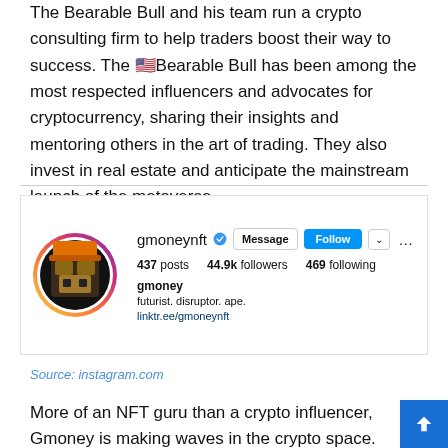The Bearable Bull and his team run a crypto consulting firm to help traders boost their way to success. The Bearable Bull has been among the most respected influencers and advocates for cryptocurrency, sharing their insights and mentoring others in the art of trading. They also invest in real estate and anticipate the mainstream launch of the metaverse.
[Figure (screenshot): Instagram profile screenshot for gmoneynft: 437 posts, 44.9k followers, 469 following. Bio: gmoney, futurist. disruptor. ape. linktr.ee/gmoneynft]
Source: instagram.com
More of an NFT guru than a crypto influencer, Gmoney is making waves in the crypto space. Their Bored Ape Yacht Club collaboration with Adidas metaverse venture is undeniably the